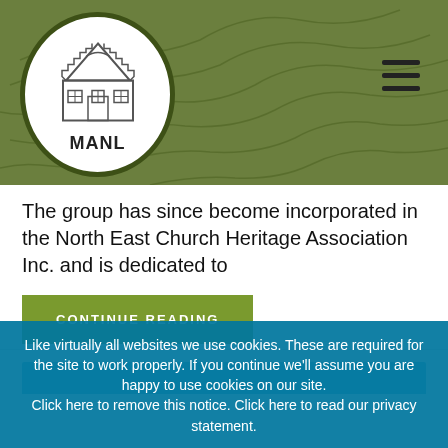[Figure (logo): MANL organization logo: circular badge with a white background and dark green border, containing a line drawing of a heritage house/building and the text MANL below it, set against a green topographic map background with hamburger menu icon in the top right]
The group has since become incorporated in the North East Church Heritage Association Inc. and is dedicated to
CONTINUE READING
Like virtually all websites we use cookies. These are required for the site to work properly. If you continue we'll assume you are happy to use cookies on our site. Click here to remove this notice. Click here to read our privacy statement.